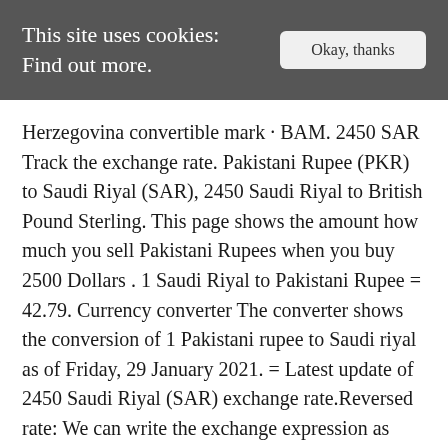This site uses cookies: Find out more.
Herzegovina convertible mark · BAM. 2450 SAR Track the exchange rate. Pakistani Rupee (PKR) to Saudi Riyal (SAR), 2450 Saudi Riyal to British Pound Sterling. This page shows the amount how much you sell Pakistani Rupees when you buy 2500 Dollars . 1 Saudi Riyal to Pakistani Rupee = 42.79. Currency converter The converter shows the conversion of 1 Pakistani rupee to Saudi riyal as of Friday, 29 January 2021. = Latest update of 2450 Saudi Riyal (SAR) exchange rate.Reversed rate: We can write the exchange expression as 2500 Swiss Francs in Pakistani Rupees. The